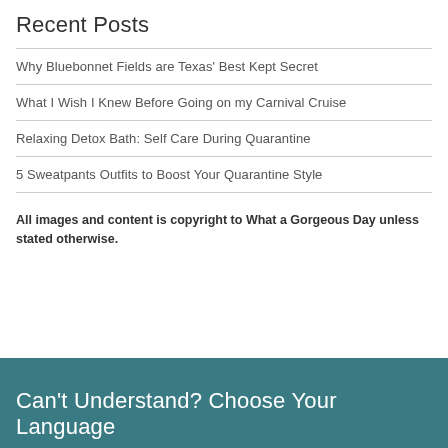Recent Posts
Why Bluebonnet Fields are Texas' Best Kept Secret
What I Wish I Knew Before Going on my Carnival Cruise
Relaxing Detox Bath: Self Care During Quarantine
5 Sweatpants Outfits to Boost Your Quarantine Style
All images and content is copyright to What a Gorgeous Day unless stated otherwise.
Can't Understand? Choose Your Language